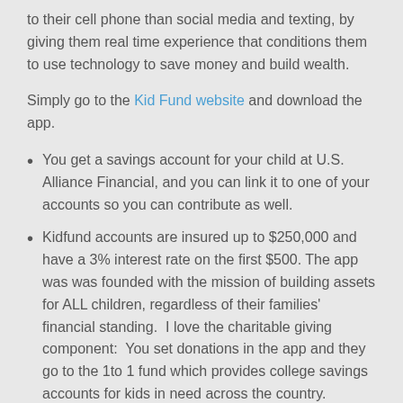to their cell phone than social media and texting, by giving them real time experience that conditions them to use technology to save money and build wealth.
Simply go to the Kid Fund website and download the app.
You get a savings account for your child at U.S. Alliance Financial, and you can link it to one of your accounts so you can contribute as well.
Kidfund accounts are insured up to $250,000 and have a 3% interest rate on the first $500. The app was was founded with the mission of building assets for ALL children, regardless of their families' financial standing.  I love the charitable giving component:  You set donations in the app and they go to the 1to 1 fund which provides college savings accounts for kids in need across the country.